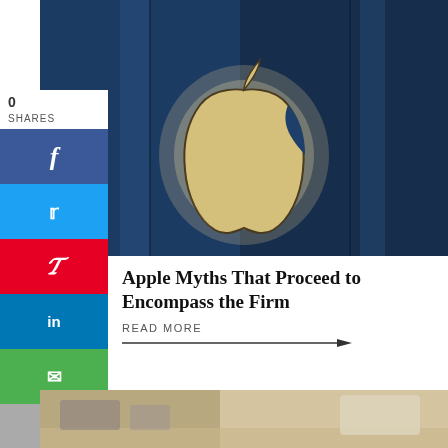[Figure (photo): Apple logo (glowing backlit apple on dark blue glass building facade) hero image]
[Figure (infographic): Social media share sidebar with Facebook, Twitter, Pinterest, LinkedIn, Email, Print buttons and 0 SHARES count]
Apple Myths That Proceed to Encompass the Firm
READ MORE →
[Figure (photo): Partial bottom image showing what appears to be electronic or Apple device components]